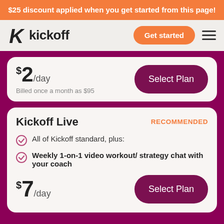$25 discount applied when you get started from this page!
[Figure (logo): Kickoff logo with stylized K icon and 'kickoff' wordmark, plus Get started button and hamburger menu]
$2/day
Billed once a month as $95
Select Plan
Kickoff Live
RECOMMENDED
All of Kickoff standard, plus:
Weekly 1-on-1 video workout/ strategy chat with your coach
$7/day
Select Plan